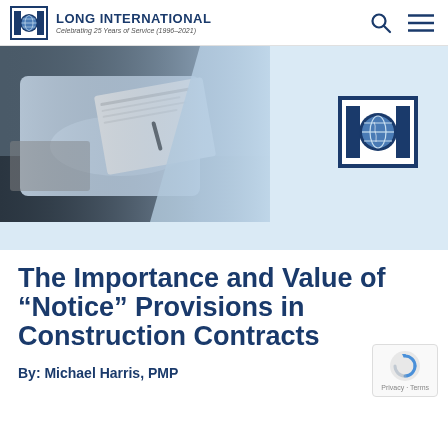Long International — Celebrating 25 Years of Service (1996–2021)
[Figure (photo): Hero image showing a person in a white shirt reviewing documents, with a diagonal cut transitioning to a light blue background. Large Long International logo on the right side.]
The Importance and Value of “Notice” Provisions in Construction Contracts
By: Michael Harris, PMP